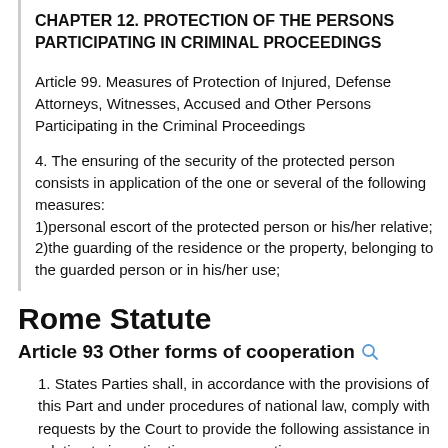CHAPTER 12. PROTECTION OF THE PERSONS PARTICIPATING IN CRIMINAL PROCEEDINGS
Article 99. Measures of Protection of Injured, Defense Attorneys, Witnesses, Accused and Other Persons Participating in the Criminal Proceedings
4. The ensuring of the security of the protected person consists in application of the one or several of the following measures:
1)personal escort of the protected person or his/her relative;
2)the guarding of the residence or the property, belonging to the guarded person or in his/her use;
Rome Statute
Article 93 Other forms of cooperation
1. States Parties shall, in accordance with the provisions of this Part and under procedures of national law, comply with requests by the Court to provide the following assistance in relation to investigations or prosecutions: